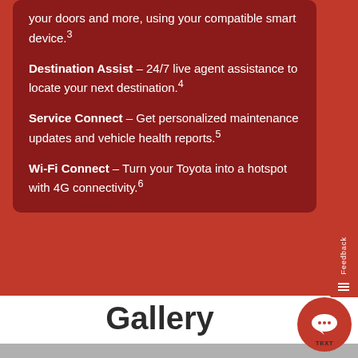your doors and more, using your compatible smart device.³
Destination Assist – 24/7 live agent assistance to locate your next destination.⁴
Service Connect – Get personalized maintenance updates and vehicle health reports.⁵
Wi-Fi Connect – Turn your Toyota into a hotspot with 4G connectivity.⁶
Gallery